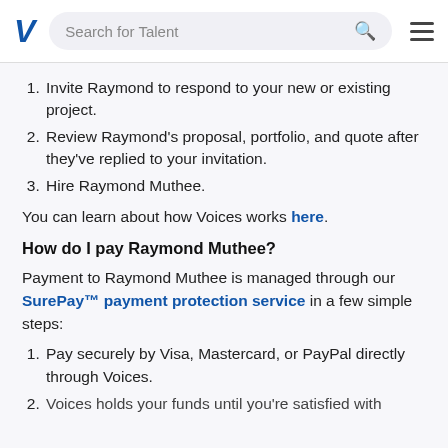Search for Talent
Invite Raymond to respond to your new or existing project.
Review Raymond's proposal, portfolio, and quote after they've replied to your invitation.
Hire Raymond Muthee.
You can learn about how Voices works here.
How do I pay Raymond Muthee?
Payment to Raymond Muthee is managed through our SurePay™ payment protection service in a few simple steps:
Pay securely by Visa, Mastercard, or PayPal directly through Voices.
Voices holds your funds until you're satisfied with